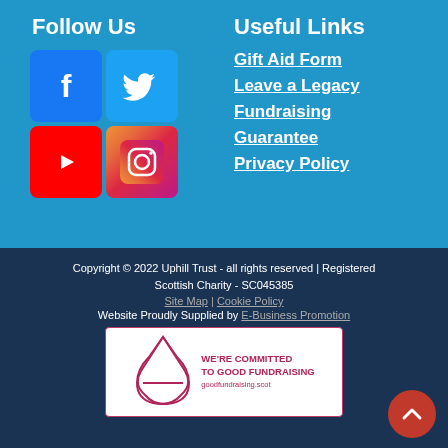Follow Us
[Figure (illustration): Social media icons: Facebook (blue), Twitter (light blue), YouTube (red), Instagram (gradient)]
Useful Links
Gift Aid Form
Leave a Legacy
Fundraising
Guarantee
Privacy Policy
Copyright © 2022 Uphill Trust - all rights reserved | Registered Scottish Charity - SC045385
Site Map | Cookie Policy
Website Proudly Supplied by E-Business Promotion
[Figure (logo): We're Committed to Good Fundraising badge - goodfundraising.scot]